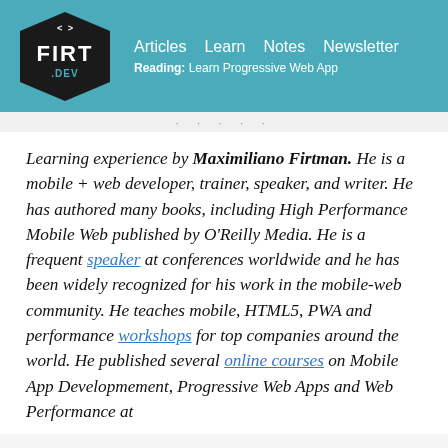FIRT .DEV | Articles  Learn  Notes  Newsletter | Reading: Learn Progressive Web App
Learning experience by Maximiliano Firtman. He is a mobile + web developer, trainer, speaker, and writer. He has authored many books, including High Performance Mobile Web published by O'Reilly Media. He is a frequent speaker at conferences worldwide and he has been widely recognized for his work in the mobile-web community. He teaches mobile, HTML5, PWA and performance workshops for top companies around the world. He published several online courses on Mobile App Developmement, Progressive Web Apps and Web Performance at